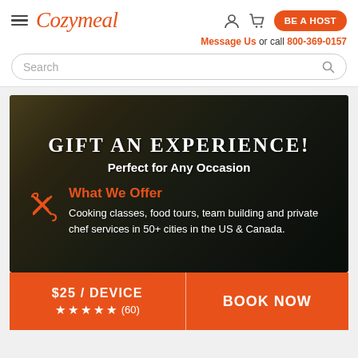[Figure (logo): Cozymeal logo with hamburger menu, user and cart icons, and BE A HOST button]
Message Us or call 800-369-0157
Search
[Figure (photo): Banner image with food background showing GIFT AN EXPERIENCE! Perfect for Any Occasion, What We Offer section with cooking classes icon and text about Cooking classes, food tours, team building and private chef services in 50+ cities in the US & Canada.]
$25 / DEVICE ★★★★★ (60) | BOOK NOW